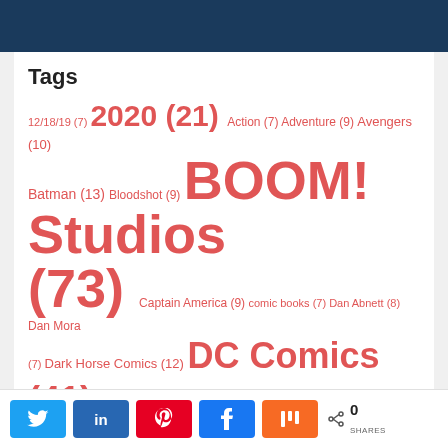Tags
12/18/19 (7) 2020 (21) Action (7) Adventure (9) Avengers (10) Batman (13) Bloodshot (9) BOOM! Studios (73) Captain America (9) comic books (7) Dan Abnett (8) Dan Mora (7) Dark Horse Comics (12) DC Comics (41) DC UNIVERSE (7) Drama (7) Dynamite (33) Dynamite Comics (50) Dynamite Entertainment (8) Fantasy (7) Horror
0 SHARES